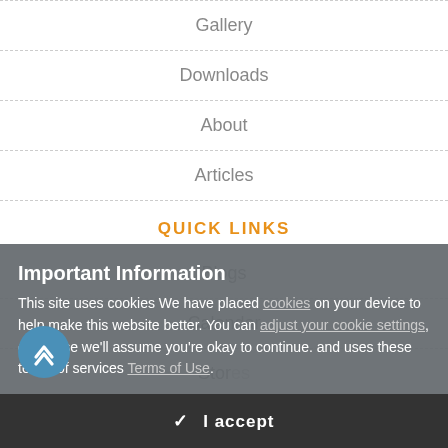Gallery
Downloads
About
Articles
QUICK LINKS
Blogs
Calendar
Stor…
Important Information
This site uses cookies We have placed cookies on your device to help make this website better. You can adjust your cookie settings, otherwise we'll assume you're okay to continue. and uses these terms of services Terms of Use.
✔  I accept